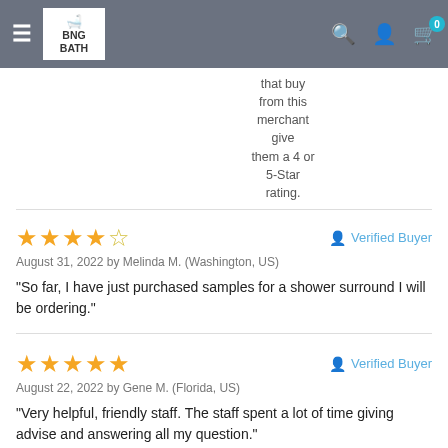BNG BATH — navigation header with logo, search, account, and cart icons
that buy from this merchant give them a 4 or 5-Star rating.
★★★★☆  Verified Buyer
August 31, 2022 by Melinda M. (Washington, US)
"So far, I have just purchased samples for a shower surround I will be ordering."
★★★★★  Verified Buyer
August 22, 2022 by Gene M. (Florida, US)
"Very helpful, friendly staff. The staff spent a lot of time giving advise and answering all my question."